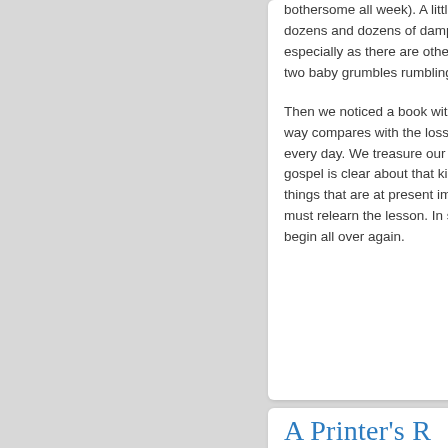bothersome all week). A little dozens and dozens of damp especially as there are other two baby grumbles rumbling

Then we noticed a book with way compares with the loss t every day. We treasure our b gospel is clear about that kin things that are at present imp must relearn the lesson. In sm begin all over again.
A Printer's R
26/March/2010